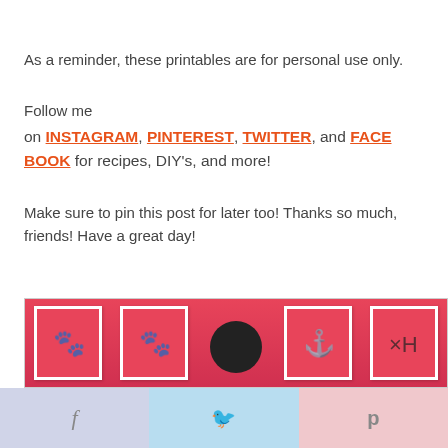As a reminder, these printables are for personal use only.
Follow me on INSTAGRAM, PINTEREST, TWITTER, and FACEBOOK for recipes, DIY's, and more!
Make sure to pin this post for later too! Thanks so much, friends! Have a great day!
[Figure (photo): Photo strip showing red cards with illustrations hung on a line, with a dark circular object (person's head) visible in the center.]
[Figure (infographic): Social share bar with three buttons: Facebook (blue-grey), Twitter (light blue), Pinterest (light pink), each with their respective icons.]